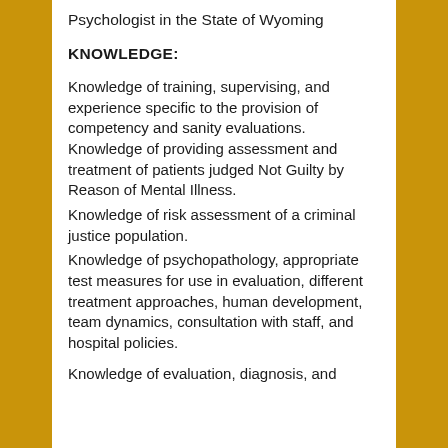Psychologist in the State of Wyoming
KNOWLEDGE:
Knowledge of training, supervising, and experience specific to the provision of competency and sanity evaluations. Knowledge of providing assessment and treatment of patients judged Not Guilty by Reason of Mental Illness.
Knowledge of risk assessment of a criminal justice population.
Knowledge of psychopathology, appropriate test measures for use in evaluation, different treatment approaches, human development, team dynamics, consultation with staff, and hospital policies.
Knowledge of evaluation, diagnosis, and